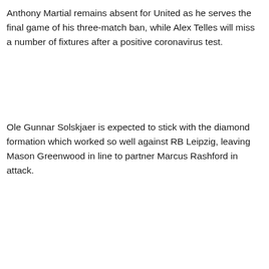Anthony Martial remains absent for United as he serves the final game of his three-match ban, while Alex Telles will miss a number of fixtures after a positive coronavirus test.
Ole Gunnar Solskjaer is expected to stick with the diamond formation which worked so well against RB Leipzig, leaving Mason Greenwood in line to partner Marcus Rashford in attack.